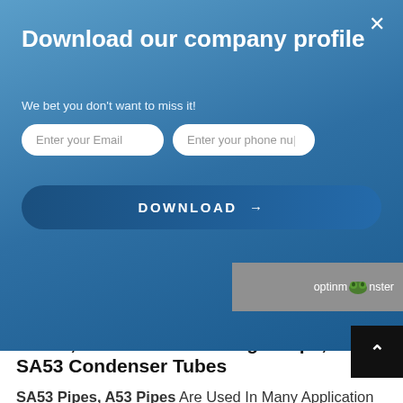[Figure (screenshot): Modal popup overlay with blue gradient background prompting user to download company profile. Contains title 'Download our company profile', subtitle 'We bet you don't want to miss it!', two input fields for Email and phone number, and a DOWNLOAD button.]
ASTM A53 Welded Pipes, A53 Boiler Tubes, SA53 Heat Exchanger Pipe, ASME SA53 Condenser Tubes
SA53 Pipes, A53 Pipes Are Used In Many Application Industries. ASTM A53 Tube & ASME SA53 Tube Are Used In Heat Transfer Equipments Like Tubular Heat Exchangers, Condensers, Etc. Carbon Steel SA53 Pipes Are